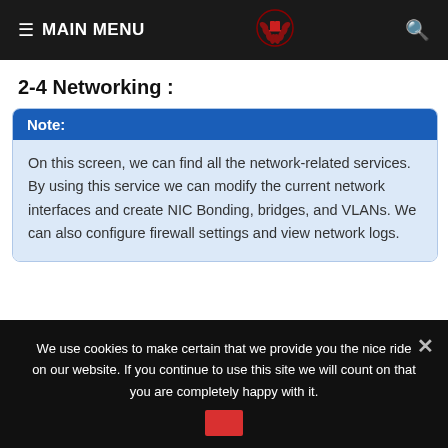≡ MAIN MENU
2-4 Networking :
Note: On this screen, we can find all the network-related services. By using this service we can modify the current network interfaces and create NIC Bonding, bridges, and VLANs. We can also configure firewall settings and view network logs.
[Figure (continuous-plot): Two small network traffic line charts side by side, each showing a mostly flat line with a single spike.]
We use cookies to make certain that we provide you the nice ride on our website. If you continue to use this site we will count on that you are completely happy with it.